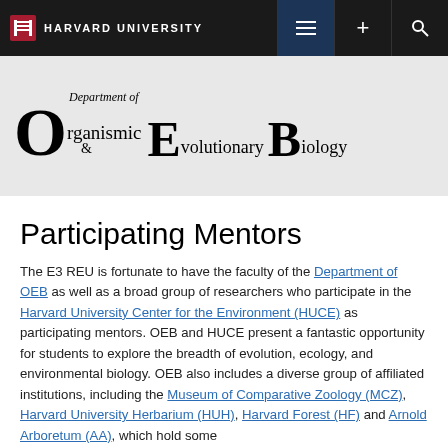HARVARD UNIVERSITY
[Figure (logo): Department of Organismic & Evolutionary Biology (OEB) logo header on grey background]
Participating Mentors
The E3 REU is fortunate to have the faculty of the Department of OEB as well as a broad group of researchers who participate in the Harvard University Center for the Environment (HUCE) as participating mentors. OEB and HUCE present a fantastic opportunity for students to explore the breadth of evolution, ecology, and environmental biology. OEB also includes a diverse group of affiliated institutions, including the Museum of Comparative Zoology (MCZ), Harvard University Herbarium (HUH), Harvard Forest (HF) and Arnold Arboretum (AA), which hold some